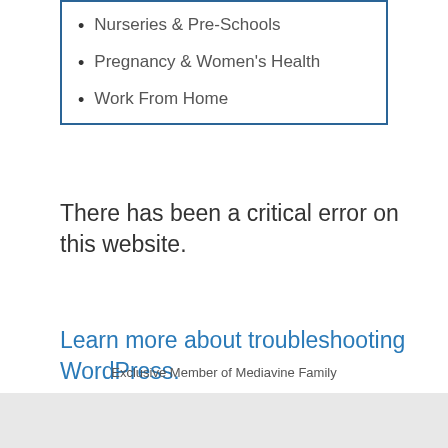Nurseries & Pre-Schools
Pregnancy & Women's Health
Work From Home
There has been a critical error on this website.
Learn more about troubleshooting WordPress.
Exclusive Member of Mediavine Family